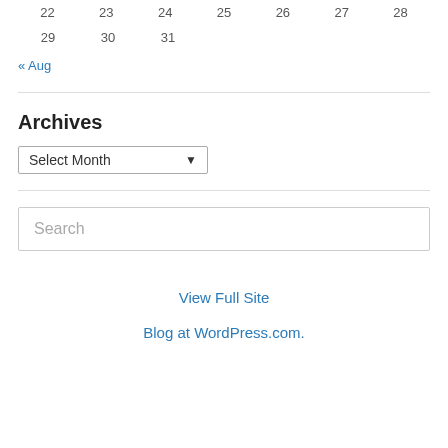| 22 | 23 | 24 | 25 | 26 | 27 | 28 |
| 29 | 30 | 31 |  |  |  |  |
« Aug
Archives
Select Month
Search
View Full Site
Blog at WordPress.com.